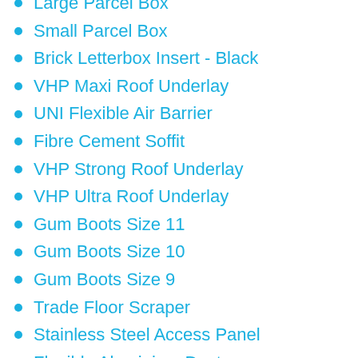Large Parcel Box
Small Parcel Box
Brick Letterbox Insert - Black
VHP Maxi Roof Underlay
UNI Flexible Air Barrier
Fibre Cement Soffit
VHP Strong Roof Underlay
VHP Ultra Roof Underlay
Gum Boots Size 11
Gum Boots Size 10
Gum Boots Size 9
Trade Floor Scraper
Stainless Steel Access Panel
Flexible Aluminium Duct
Back Draft Shutter
Patio Heaters - Mini Black
Patio Heaters - Mini Painted Steel Dark Grey
Patio Heaters - Standard White